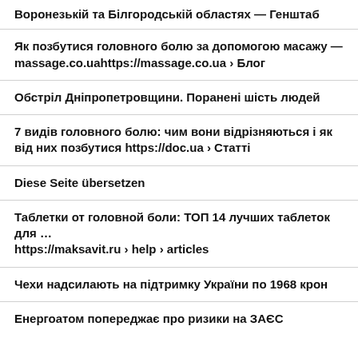Воронезькій та Білгородській областях — Генштаб
Як позбутися головного болю за допомогою масажу — massage.co.uahttps://massage.co.ua › Блог
Обстріл Дніпропетровщини. Поранені шість людей
7 видів головного болю: чим вони відрізняються і як від них позбутися https://doc.ua › Статті
Diese Seite übersetzen
Таблетки от головной боли: ТОП 14 лучших таблеток для … https://maksavit.ru › help › articles
Чехи надсилають на підтримку України по 1968 крон
Енергоатом попереджає про ризики на ЗАЄС